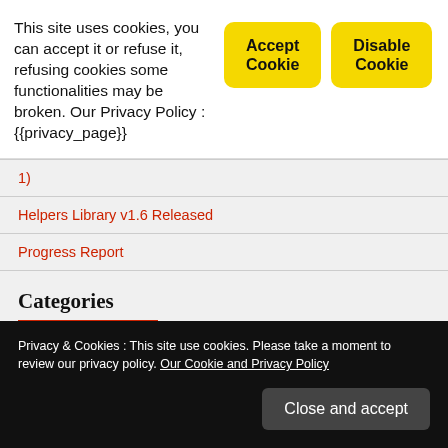This site uses cookies, you can accept it or refuse it, refusing cookies some functionalities may be broken. Our Privacy Policy : {{privacy_page}}
Accept Cookie
Disable Cookie
1)
Helpers Library v1.6 Released
Progress Report
Categories
APPBuilder
Privacy & Cookies : This site use cookies. Please take a moment to review our privacy policy. Our Cookie and Privacy Policy
Close and accept
HGui